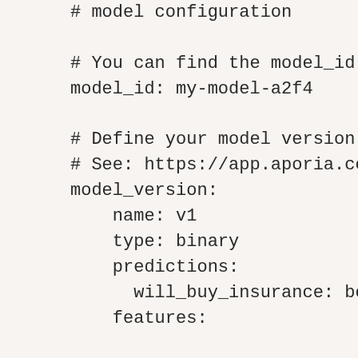# model configuration

# You can find the model_id af
model_id: my-model-a2f4

# Define your model version sc
# See: https://app.aporia.com/
model_version:
    name: v1
    type: binary
    predictions:
      will_buy_insurance: boolea
    features:

      Age: numeric
      Driving_License: boolean
      Region_Code: categorical
      Annual_Premium: numeric
      Vintage: numeric